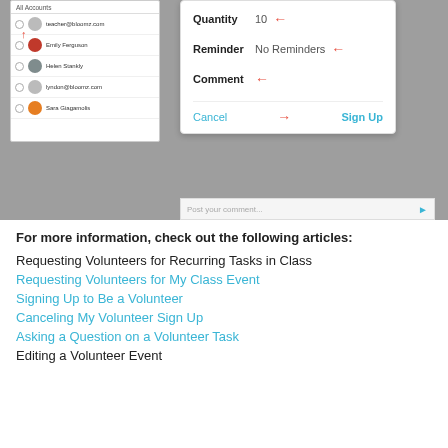[Figure (screenshot): Mobile app screenshot showing a volunteer sign-up dialog with fields for Quantity (10), Reminder (No Reminders), Comment, and Cancel/Sign Up buttons, with red arrows pointing to each field. Left panel shows a list of accounts including teacher@bloomz.com, Emily Ferguson, Helen Stankly, lyndon@bloomz.com, and Sara Giagamolis.]
For more information, check out the following articles:
Requesting Volunteers for Recurring Tasks in Class
Requesting Volunteers for My Class Event
Signing Up to Be a Volunteer
Canceling My Volunteer Sign Up
Asking a Question on a Volunteer Task
Editing a Volunteer Event